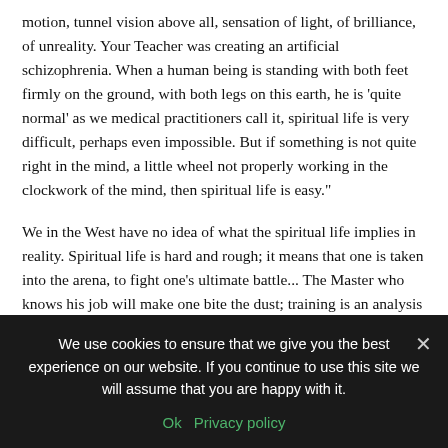motion, tunnel vision above all, sensation of light, of brilliance, of unreality. Your Teacher was creating an artificial schizophrenia. When a human being is standing with both feet firmly on the ground, with both legs on this earth, he is 'quite normal' as we medical practitioners call it, spiritual life is very difficult, perhaps even impossible. But if something is not quite right in the mind, a little wheel not properly working in the clockwork of the mind, then spiritual life is easy."
We in the West have no idea of what the spiritual life implies in reality. Spiritual life is hard and rough; it means that one is taken into the arena, to fight one's ultimate battle... The Master who knows his job will make one bite the dust; training is an analysis "plus," in the sense that yogic power is used to bring the human being to the "cooking point," at the maturity point
We use cookies to ensure that we give you the best experience on our website. If you continue to use this site we will assume that you are happy with it.
Ok   Privacy policy